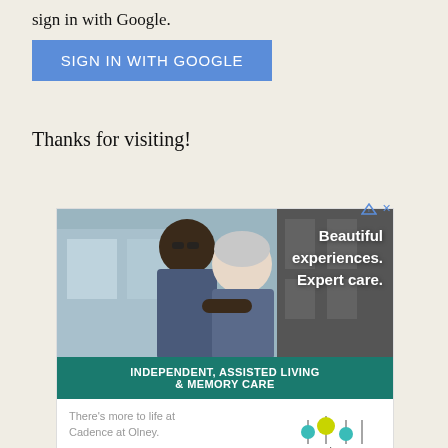sign in with Google.
[Figure (other): Blue 'SIGN IN WITH GOOGLE' button]
Thanks for visiting!
[Figure (infographic): Advertisement for Cadence at Olney senior living. Shows an older couple hugging outdoors. Text overlay: 'Beautiful experiences. Expert care.' Green banner: 'INDEPENDENT, ASSISTED LIVING & MEMORY CARE'. Bottom: 'There's more to life at Cadence at Olney.' with REQUEST INFO button and Cadence Living logo.]